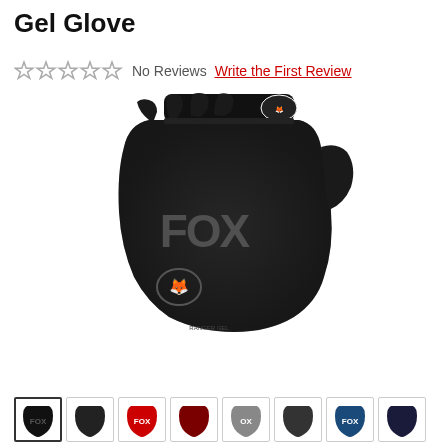Gel Glove
No Reviews  Write the First Review
[Figure (photo): Black Fox Ranger fingerless gel glove with FOX logo and fox head emblem on back of hand, shown from back/top view]
[Figure (photo): Row of 8 thumbnail images showing Fox Ranger Gel Glove in various colors: black with logo, solid black, red with logo, dark red/maroon, grey with logo, solid dark, blue with logo, dark navy]